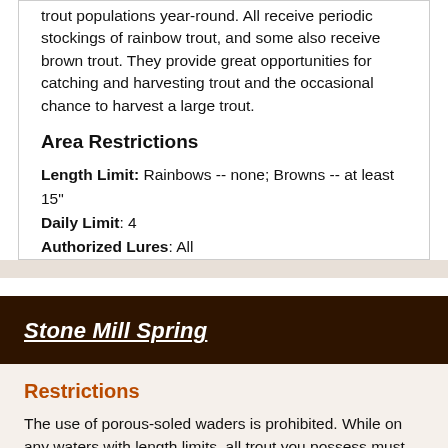trout populations year-round. All receive periodic stockings of rainbow trout, and some also receive brown trout. They provide great opportunities for catching and harvesting trout and the occasional chance to harvest a large trout.
Area Restrictions
Length Limit: Rainbows -- none; Browns -- at least 15"
Daily Limit: 4
Authorized Lures: All
Stone Mill Spring
Restrictions
The use of porous-soled waders is prohibited. While on any waters with length limits, all trout you possess must be kept with head, tail, and skin intact.